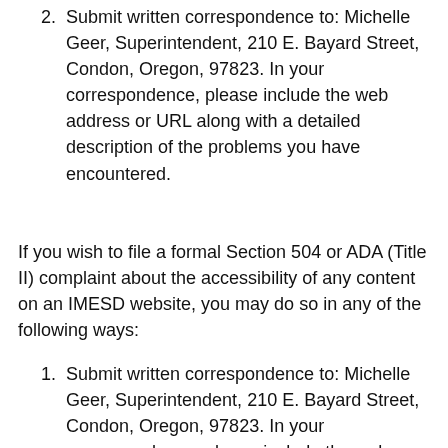2. Submit written correspondence to: Michelle Geer, Superintendent, 210 E. Bayard Street, Condon, Oregon, 97823. In your correspondence, please include the web address or URL along with a detailed description of the problems you have encountered.
If you wish to file a formal Section 504 or ADA (Title II) complaint about the accessibility of any content on an IMESD website, you may do so in any of the following ways:
1. Submit written correspondence to: Michelle Geer, Superintendent, 210 E. Bayard Street, Condon, Oregon, 97823. In your correspondence, please include the web